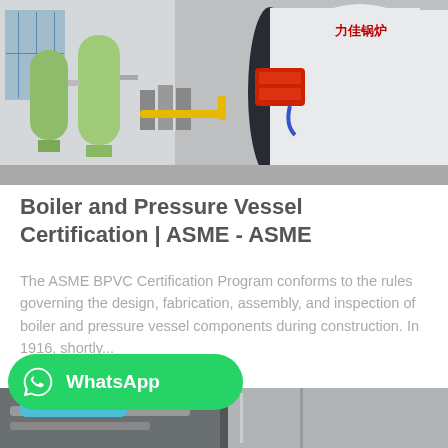[Figure (photo): Industrial boiler room with water treatment tanks on the left, pumps and pipes in the center, and a large white cylindrical boiler with a red burner on the right. Chinese text on the boiler reads 力佳锅炉.]
Boiler and Pressure Vessel Certification | ASME - ASME
The ASME BPVC Certification Program conforms to the rules governing the design, fabrication, assembly, and inspection of boiler and pressure vessel components during construction. In 1916, shortly...
[Figure (photo): Industrial facility interior showing pipes and equipment, partially visible at the bottom of the page.]